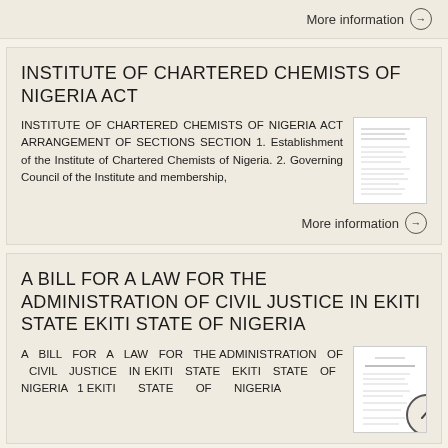More information →
INSTITUTE OF CHARTERED CHEMISTS OF NIGERIA ACT
INSTITUTE OF CHARTERED CHEMISTS OF NIGERIA ACT ARRANGEMENT OF SECTIONS SECTION 1. Establishment of the Institute of Chartered Chemists of Nigeria. 2. Governing Council of the Institute and membership,
[Figure (other): Thumbnail preview of document page]
More information →
A BILL FOR A LAW FOR THE ADMINISTRATION OF CIVIL JUSTICE IN EKITI STATE EKITI STATE OF NIGERIA
A BILL FOR A LAW FOR THE ADMINISTRATION OF CIVIL JUSTICE IN EKITI STATE EKITI STATE OF NIGERIA 1 EKITI STATE OF NIGERIA
[Figure (other): Thumbnail preview of document page]